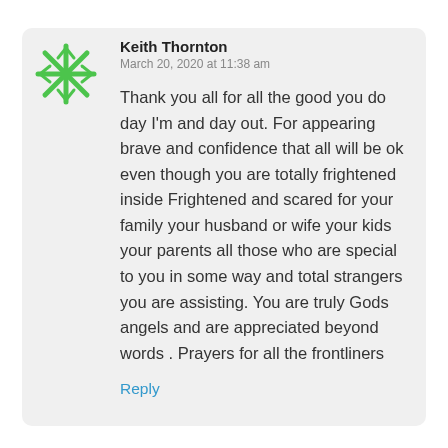[Figure (logo): Green snowflake/asterisk avatar icon]
Keith Thornton
March 20, 2020 at 11:38 am
Thank you all for all the good you do day I'm and day out. For appearing brave and confidence that all will be ok even though you are totally frightened inside Frightened and scared for your family your husband or wife your kids your parents all those who are special to you in some way and total strangers you are assisting. You are truly Gods angels and are appreciated beyond words . Prayers for all the frontliners
Reply